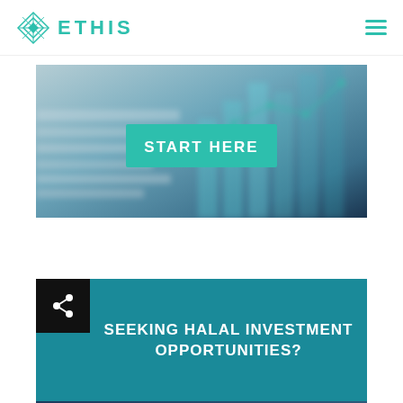ETHIS
[Figure (screenshot): Hero banner with blurred financial charts background and a teal 'START HERE' button in the center]
SEEKING HALAL INVESTMENT OPPORTUNITIES?
[Figure (photo): Dark blue background with abstract arrow/chevron graphic at the bottom of the card]